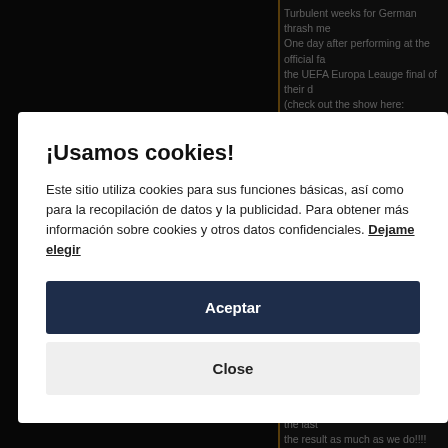[Figure (screenshot): Dark website background with right column showing partial article text about German thrash metal band, UEFA Europa League, with an orange link. A semi-transparent overlay covers the background.]
¡Usamos cookies!
Este sitio utiliza cookies para sus funciones básicas, así como para la recopilación de datos y la publicidad. Para obtener más información sobre cookies y otros datos confidenciales. Dejame elegir
Aceptar
Close